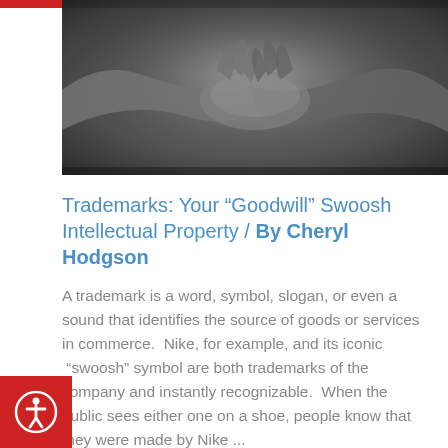[Figure (photo): Black and white close-up photograph of two hands shaking in a handshake]
Trademarks: Your “Goodwill” Swoosh Intellectual Property / By Cheryl Hodgson
A trademark is a word, symbol, slogan, or even a sound that identifies the source of goods or services in commerce. Nike, for example, and its iconic “swoosh” symbol are both trademarks of the company and instantly recognizable. When the public sees either one on a shoe, people know that they were made by Nike ...